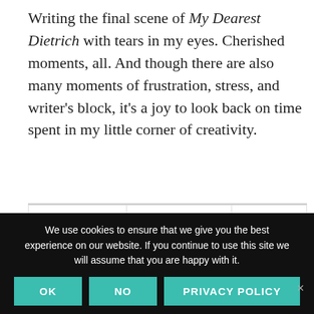Writing the final scene of My Dearest Dietrich with tears in my eyes. Cherished moments, all. And though there are also many moments of frustration, stress, and writer's block, it's a joy to look back on time spent in my little corner of creativity.
| IT'S OVER! | 6 8 | 0/4 |
| --- | --- | --- |
We use cookies to ensure that we give you the best experience on our website. If you continue to use this site we will assume that you are happy with it.